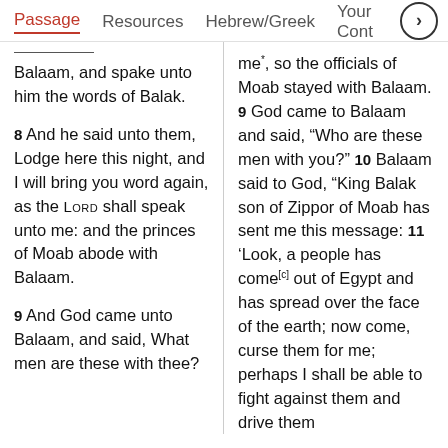Passage | Resources | Hebrew/Greek | Your Cont >
Balaam, and spake unto him the words of Balak.
8 And he said unto them, Lodge here this night, and I will bring you word again, as the LORD shall speak unto me: and the princes of Moab abode with Balaam.
9 And God came unto Balaam, and said, What men are these with thee?
me*, so the officials of Moab stayed with Balaam. 9 God came to Balaam and said, “Who are these men with you?” 10 Balaam said to God, “King Balak son of Zippor of Moab has sent me this message: 11 ‘Look, a people has come[c] out of Egypt and has spread over the face of the earth; now come, curse them for me; perhaps I shall be able to fight against them and drive them